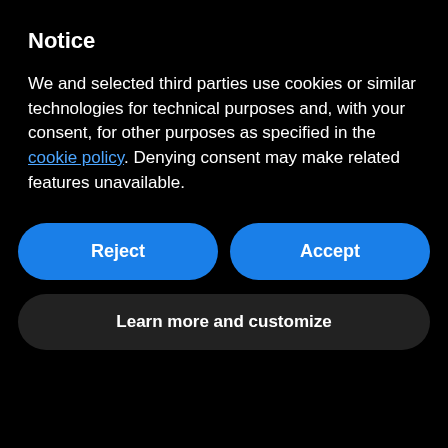Notice
We and selected third parties use cookies or similar technologies for technical purposes and, with your consent, for other purposes as specified in the cookie policy. Denying consent may make related features unavailable.
Reject
Accept
Learn more and customize
To recap: when you are less interested in having an excellent broth, but instead want a tasty boiled meat, immerse the raw meat in water that is already boiling. If you want an excellent broth (which is fundamental to make a good Pearà) put the meat and the veggies together with cold water in the pot